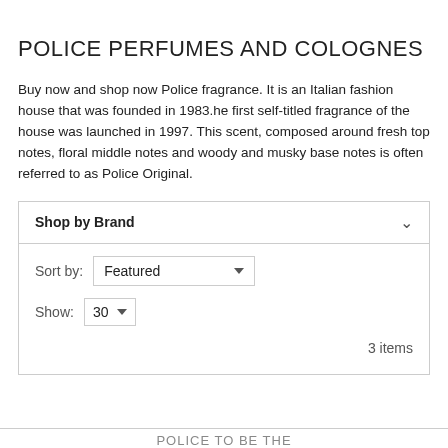POLICE PERFUMES AND COLOGNES
Buy now and shop now Police fragrance. It is an Italian fashion house that was founded in 1983.he first self-titled fragrance of the house was launched in 1997. This scent, composed around fresh top notes, floral middle notes and woody and musky base notes is often referred to as Police Original.
Shop by Brand
Sort by: Featured
Show: 30
3 items
POLICE TO BE THE